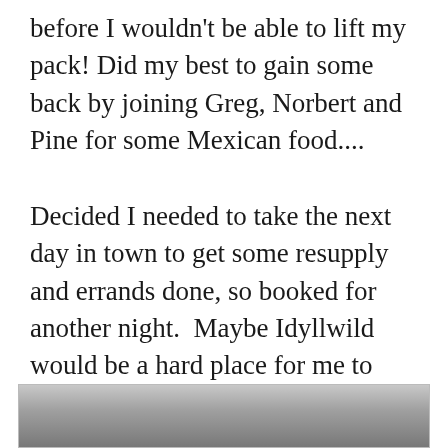before I wouldn't be able to lift my pack! Did my best to gain some back by joining Greg, Norbert and Pine for some Mexican food....
Decided I needed to take the next day in town to get some resupply and errands done, so booked for another night.  Maybe Idyllwild would be a hard place for me to leave too.  My foot, by this point was killing me, but I thought a few days rest may be the answer.  It was so nice to drift off on a nice bed for a night.
[Figure (photo): Partial view of a photograph showing a grey/dark gradient, likely a landscape or outdoor scene, cropped at the bottom of the page.]